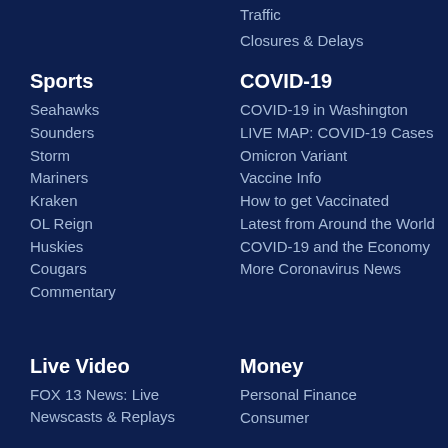Traffic
Closures & Delays
Sports
Seahawks
Sounders
Storm
Mariners
Kraken
OL Reign
Huskies
Cougars
Commentary
COVID-19
COVID-19 in Washington
LIVE MAP: COVID-19 Cases
Omicron Variant
Vaccine Info
How to get Vaccinated
Latest from Around the World
COVID-19 and the Economy
More Coronavirus News
Live Video
FOX 13 News: Live Newscasts & Replays
Money
Personal Finance
Consumer